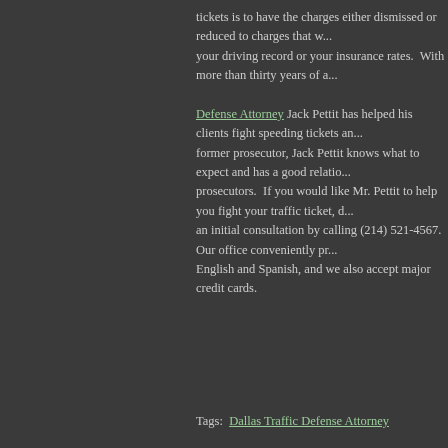tickets is to have the charges either dismissed or reduced to charges that w... your driving record or your insurance rates.  With more than thirty years of a... Defense Attorney Jack Pettit has helped his clients fight speeding tickets an... former prosecutor, Jack Pettit knows what to expect and has a good relatio... prosecutors.  If you would like Mr. Pettit to help you fight your traffic ticket, d... an initial consultation by calling (214) 521-4567.  Our office conveniently pr... English and Spanish, and we also accept major credit cards.
Tags:  Dallas Traffic Defense Attorney
Posted in Traffic Ticket Defense | Comments Off on Dallas Speeding Tickets...
HOME    FIRM OVERVIEW    ATTORNEY PROFILE    PRACTICE...
© 2012 by Jack Pettit Attorney At Law. All rights reserved. Disclaimer | Site Map
Lawyer Website SEO by LawyerSuccess.com
The Law Office of Jack Pettit, Attorney at Law, is pleased to serve ticket clients in D... Peace courts and the city courts of Dallas, Cedar Hill, Cockrell Hill, Farmers Branch Seagoville, Sunnyvale and University Park and criminal clients from all cities in Dall...